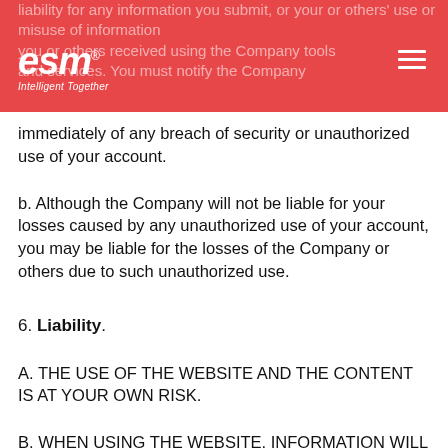liability for any information you submit, or your or others' use or misuse of information you or others received using the Company tools and services. You must notify the Company immediately of any breach of security or unauthorized use of your account.
b. Although the Company will not be liable for your losses caused by any unauthorized use of your account, you may be liable for the losses of the Company or others due to such unauthorized use.
6. Liability.
a. THE USE OF THE WEBSITE AND THE CONTENT IS AT YOUR OWN RISK.
b. WHEN USING THE WEBSITE, INFORMATION WILL BE TRANSMITTED OVER A MEDIUM THAT